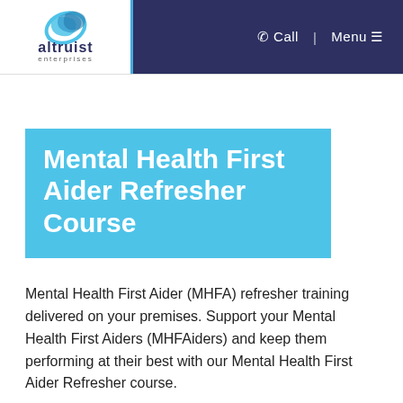altruist enterprises | Call | Menu
Mental Health First Aider Refresher Course
Mental Health First Aider (MHFA) refresher training delivered on your premises. Support your Mental Health First Aiders (MHFAiders) and keep them performing at their best with our Mental Health First Aider Refresher course.
To find out more and book this MHFA